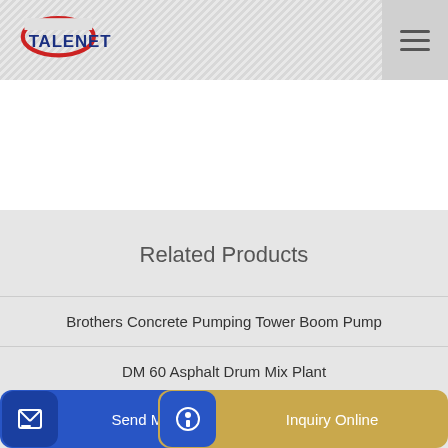[Figure (logo): Talenet logo with red ellipse swoosh and blue TALENET text]
Related Products
Brothers Concrete Pumping Tower Boom Pump
DM 60 Asphalt Drum Mix Plant
ant in
Send Message
Inquiry Online